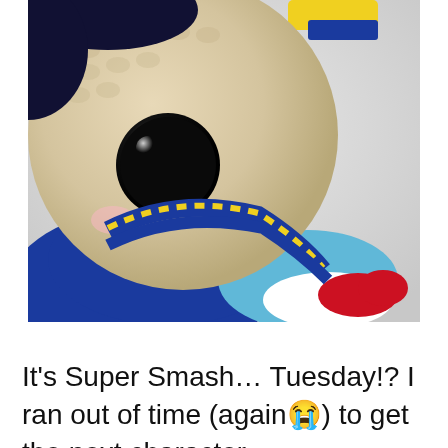[Figure (photo): Close-up photo of a crocheted amigurumi character with a beige/tan round head, large black button eye, and colorful blue, yellow, and light blue crocheted body/costume, with a red and white detail visible at the edge. The character appears to be from Super Smash Bros. The background is a light grey-white.]
It's Super Smash... Tuesday!? I ran out of time (again😭) to get the next character